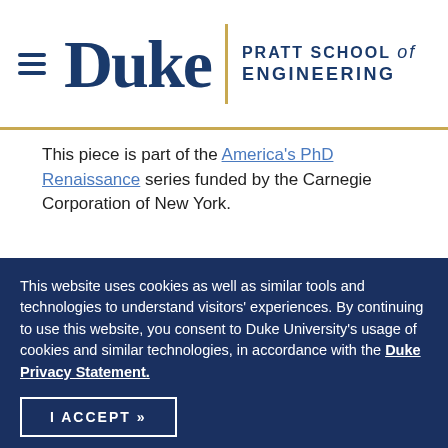Duke | PRATT SCHOOL of ENGINEERING
This piece is part of the America's PhD Renaissance series funded by the Carnegie Corporation of New York.
[Figure (infographic): Orange and gray decorative banner with text 'outrageously AMBITIOUS']
This website uses cookies as well as similar tools and technologies to understand visitors' experiences. By continuing to use this website, you consent to Duke University's usage of cookies and similar technologies, in accordance with the Duke Privacy Statement.
I ACCEPT »